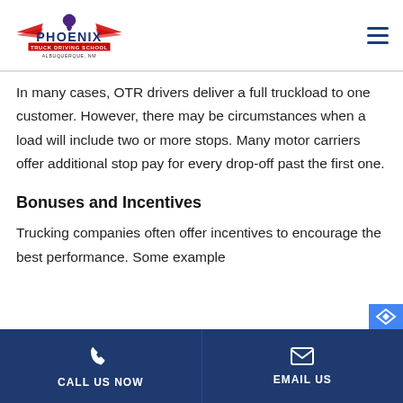Phoenix Truck Driving School - Albuquerque, NM
In many cases, OTR drivers deliver a full truckload to one customer. However, there may be circumstances when a load will include two or more stops. Many motor carriers offer additional stop pay for every drop-off past the first one.
Bonuses and Incentives
Trucking companies often offer incentives to encourage the best performance. Some example
CALL US NOW | EMAIL US